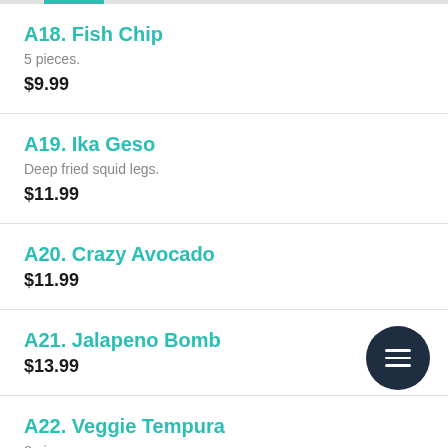A18. Fish Chip
5 pieces.
$9.99
A19. Ika Geso
Deep fried squid legs.
$11.99
A20. Crazy Avocado
$11.99
A21. Jalapeno Bomb
$13.99
A22. Veggie Tempura
8 pieces.